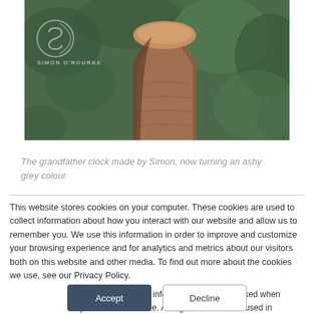[Figure (photo): A photograph of a wooden grandfather clock sculpture made from a tree stump, outdoors with green foliage in the background. A Simon O'Rourke logo (circular S mark with the text SIMON O'ROURKE) appears in the top-left corner of the image.]
The grandfather clock made by Simon, now turning an ashy grey colour
This website stores cookies on your computer. These cookies are used to collect information about how you interact with our website and allow us to remember you. We use this information in order to improve and customize your browsing experience and for analytics and metrics about our visitors both on this website and other media. To find out more about the cookies we use, see our Privacy Policy.
If you decline, your information won't be tracked when you visit this website. A single cookie will be used in your browser to remember your preference not to be tracked.